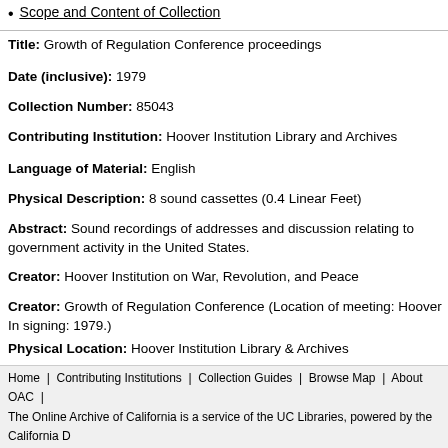Scope and Content of Collection
Title: Growth of Regulation Conference proceedings
Date (inclusive): 1979
Collection Number: 85043
Contributing Institution: Hoover Institution Library and Archives
Language of Material: English
Physical Description: 8 sound cassettes (0.4 Linear Feet)
Abstract: Sound recordings of addresses and discussion relating to government activity in the United States.
Creator: Hoover Institution on War, Revolution, and Peace
Creator: Growth of Regulation Conference (Location of meeting: Hoover In... signing: 1979.)
Physical Location: Hoover Institution Library & Archives
Access
The collection is open for research; materials must be requested in advance there are audiovisual or digital media material in the collection, they must be
Home | Contributing Institutions | Collection Guides | Browse Map | About OAC | The Online Archive of California is a service of the UC Libraries, powered by the California D